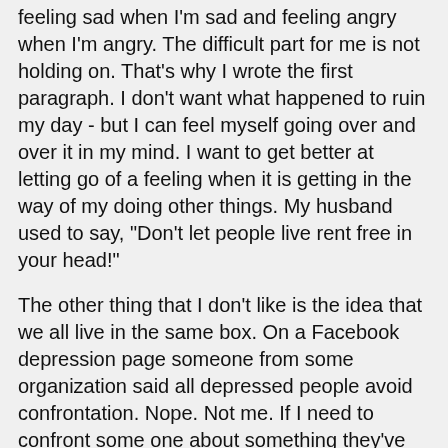feeling sad when I'm sad and feeling angry when I'm angry. The difficult part for me is not holding on. That's why I wrote the first paragraph. I don't want what happened to ruin my day - but I can feel myself going over and over it in my mind. I want to get better at letting go of a feeling when it is getting in the way of my doing other things. My husband used to say, "Don't let people live rent free in your head!"
The other thing that I don't like is the idea that we all live in the same box. On a Facebook depression page someone from some organization said all depressed people avoid confrontation. Nope. Not me. If I need to confront some one about something they've done I do it. Not in a mean way (unless I'm feeling especially snarky and then I apologize). I think it is important to ask for what you want and to hold people accountable for their actions. What didn't I say today that I wanted to because I was afraid of the consequences? Most of the time when I say something calmly and nicely I get a good reaction. There are some people I don't want in my life. What makes me feel bad is when I misjudge someone and suffer because of it. People who are depressed are depressed in different ways for different reasons. People who are in pain are in different